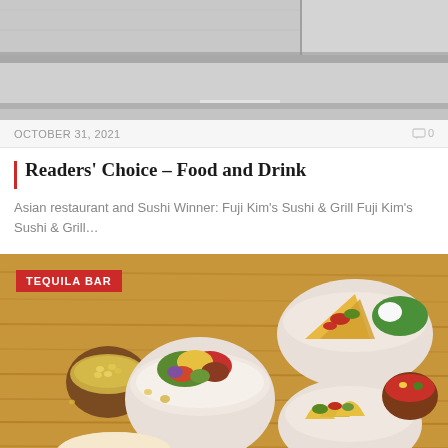[Figure (photo): Top portion of a photo showing a concrete or stone outdoor surface/steps, partially cropped]
OCTOBER 31, 2021
0
Readers' Choice – Food and Drink
Asian restaurant and Sushi Winner: Fuji Kim's Sushi & Grill Fuji Kim's Sushi & Grill...
[Figure (photo): Photo of Mexican food spread on a wooden table including a rice bowl with toppings, quesadillas on a plate with lettuce and sour cream, tacos on a plate, and small bowls of salsa and guacamole. Tagged with 'TEQUILA BAR' label in red.]